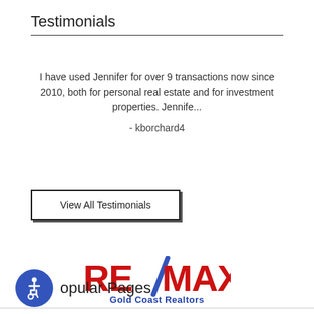Testimonials
I have used Jennifer for over 9 transactions now since 2010, both for personal real estate and for investment properties. Jennife...
- kborchard4
View All Testimonials
[Figure (logo): RE/MAX Gold Coast Realtors logo — RE/MAX in large red bold letters with a blue diagonal slash, subtitle 'Gold Coast Realtors' in blue]
[Figure (illustration): Blue circular accessibility icon with wheelchair symbol]
opular Pages